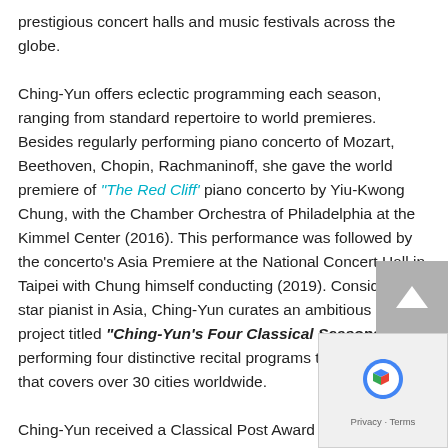prestigious concert halls and music festivals across the globe.

Ching-Yun offers eclectic programming each season, ranging from standard repertoire to world premieres. Besides regularly performing piano concerto of Mozart, Beethoven, Chopin, Rachmaninoff, she gave the world premiere of “The Red Cliff’ piano concerto by Yiu-Kwong Chung, with the Chamber Orchestra of Philadelphia at the Kimmel Center (2016). This performance was followed by the concerto’s Asia Premiere at the National Concert Hall in Taipei with Chung himself conducting (2019). Considered a star pianist in Asia, Ching-Yun curates an ambitious recital project titled “Ching-Yun’s Four Classical Seasons”, performing four distinctive recital programs throughout 2020 that covers over 30 cities worldwide.

Ching-Yun received a Classical Post Award for the “Most Innovative Instrumentalist” in the piano category